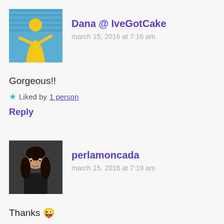[Figure (photo): Avatar photo of Dana, a woman in a yellow dress against a blue background]
Dana @ IveGotCake
march 15, 2016 at 7:16 am
Gorgeous!!
★ Liked by 1 person
Reply
[Figure (photo): Avatar photo of perlamoncada, a young woman with dark hair in a dark jacket]
perlamoncada
march 15, 2016 at 7:19 am
Thanks 😜
★ Like
Reply